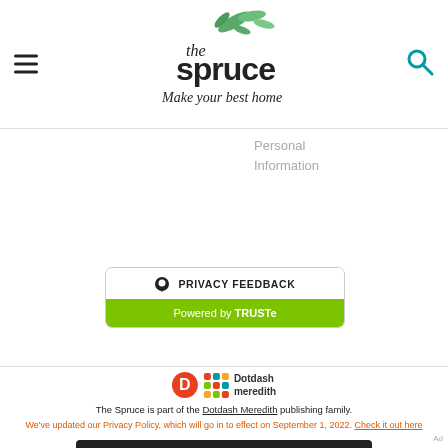the spruce - Make your best home
Personal Information
[Figure (other): Privacy Feedback button powered by TRUSTe]
[Figure (logo): Dotdash Meredith logo]
The Spruce is part of the Dotdash Meredith publishing family.
We've updated our Privacy Policy, which will go in to effect on September 1, 2022. Check it out here
[Figure (other): Ad banner: We help people find answers, solve problems and get inspired. Dotdash meredith]